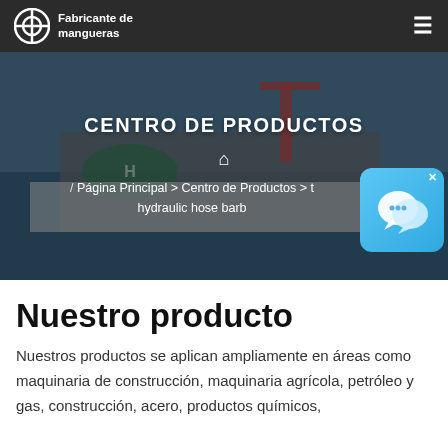Fabricante de mangueras
[Figure (screenshot): Hero banner with offshore oil platform image. Overlaid text: CENTRO DE PRODUCTOS, breadcrumb: / Página Principal > Centro de Productos > t... hydraulic hose barb. A blue chat widget with X button appears in the bottom-right corner.]
Nuestro producto
Nuestros productos se aplican ampliamente en áreas como maquinaria de construcción, maquinaria agrícola, petróleo y gas, construcción, acero, productos químicos,